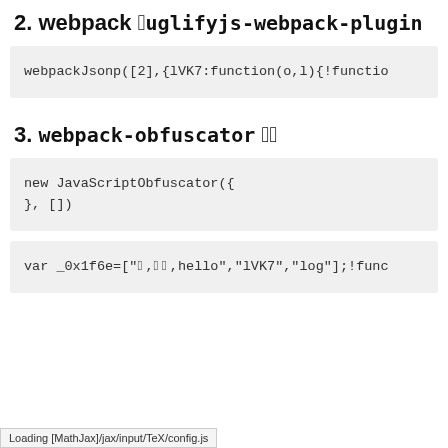2. webpack ████uglifyjs-webpack-plugin
webpackJsonp([2],{lVK7:function(o,l){!functio
3. webpack-obfuscator ████
new JavaScriptObfuscator({
}, [])
var _0x1f6e=["█,██,hello","lVK7","log"];!func
Loading [MathJax]/jax/input/TeX/config.js